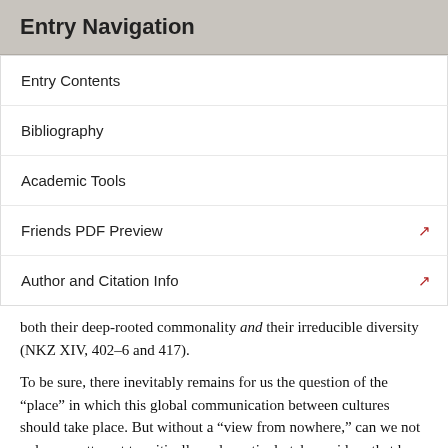Entry Navigation
Entry Contents
Bibliography
Academic Tools
Friends PDF Preview
Author and Citation Info
both their deep-rooted commonality and their irreducible diversity (NKZ XIV, 402–6 and 417).
To be sure, there inevitably remains for us the question of the “place” in which this global communication between cultures should take place. But without a “view from nowhere,” can we not only ever attempt to critically and creatively take up ideas that have particular genealogies and dialogically develop them into what are provisionally more universally viable forms? Just as concepts of democracy, hermeneutics, and indeed philosophia itself have particular cultural lineages, so do the ideas of